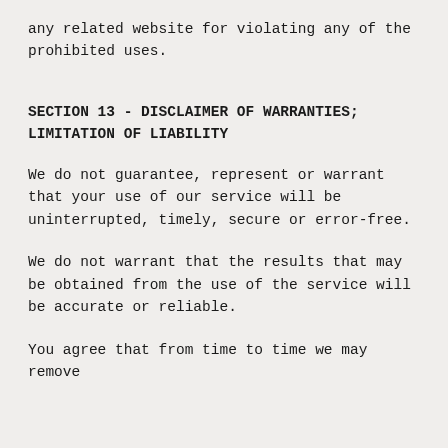any related website for violating any of the prohibited uses.
SECTION 13 - DISCLAIMER OF WARRANTIES; LIMITATION OF LIABILITY
We do not guarantee, represent or warrant that your use of our service will be uninterrupted, timely, secure or error-free.
We do not warrant that the results that may be obtained from the use of the service will be accurate or reliable.
You agree that from time to time we may remove the service for indefinite periods of time or